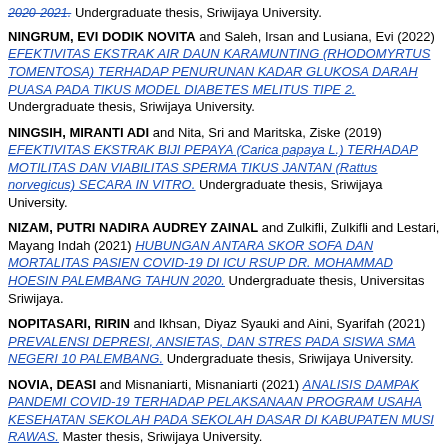Undergraduate thesis, Sriwijaya University. [top partial]
NINGRUM, EVI DODIK NOVITA and Saleh, Irsan and Lusiana, Evi (2022) EFEKTIVITAS EKSTRAK AIR DAUN KARAMUNTING (RHODOMYRTUS TOMENTOSA) TERHADAP PENURUNAN KADAR GLUKOSA DARAH PUASA PADA TIKUS MODEL DIABETES MELITUS TIPE 2. Undergraduate thesis, Sriwijaya University.
NINGSIH, MIRANTI ADI and Nita, Sri and Maritska, Ziske (2019) EFEKTIVITAS EKSTRAK BIJI PEPAYA (Carica papaya L.) TERHADAP MOTILITAS DAN VIABILITAS SPERMA TIKUS JANTAN (Rattus norvegicus) SECARA IN VITRO. Undergraduate thesis, Sriwijaya University.
NIZAM, PUTRI NADIRA AUDREY ZAINAL and Zulkifli, Zulkifli and Lestari, Mayang Indah (2021) HUBUNGAN ANTARA SKOR SOFA DAN MORTALITAS PASIEN COVID-19 DI ICU RSUP DR. MOHAMMAD HOESIN PALEMBANG TAHUN 2020. Undergraduate thesis, Universitas Sriwijaya.
NOPITASARI, RIRIN and Ikhsan, Diyaz Syauki and Aini, Syarifah (2021) PREVALENSI DEPRESI, ANSIETAS, DAN STRES PADA SISWA SMA NEGERI 10 PALEMBANG. Undergraduate thesis, Sriwijaya University.
NOVIA, DEASI and Misnaniarti, Misnaniarti (2021) ANALISIS DAMPAK PANDEMI COVID-19 TERHADAP PELAKSANAAN PROGRAM USAHA KESEHATAN SEKOLAH PADA SEKOLAH DASAR DI KABUPATEN MUSI RAWAS. Master thesis, Sriwijaya University.
NOVIANTI, RENI WAHYU and Triwani, Triwani and Roflin, Eddy (2018) KARAKTERISTIK PENDERITA KELAINAN KONGENITAL PADA SISTEM UROGENITAL DI RSUP DR. MOHAMMAD HOESIN PALEMBANG PERIODE 1 JANUARI 2017–30 JUNI 2018. Undergraduate thesis, Sriwijaya University.